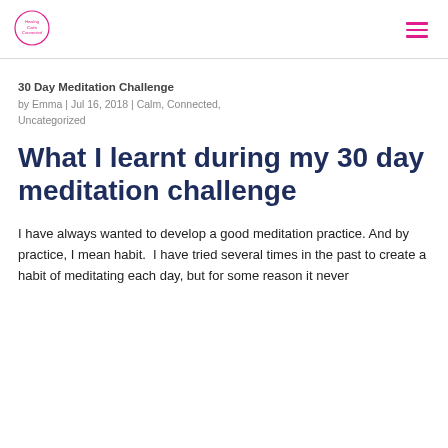[Logo: Healing Calm Connected] [Hamburger menu icon]
30 Day Meditation Challenge
by Emma | Jul 16, 2018 | Calm, Connected, Uncategorized
What I learnt during my 30 day meditation challenge
I have always wanted to develop a good meditation practice. And by practice, I mean habit.  I have tried several times in the past to create a habit of meditating each day, but for some reason it never